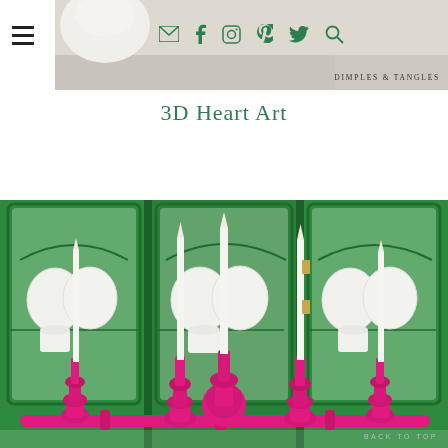Dimples & Tangles — navigation header with social icons
3D Heart Art
[Figure (photo): A green china cabinet with glass doors displaying white dishes, plates, and cups, with bright pink/magenta candelabras holding tall white taper candles in the foreground]
BACK TO TOP